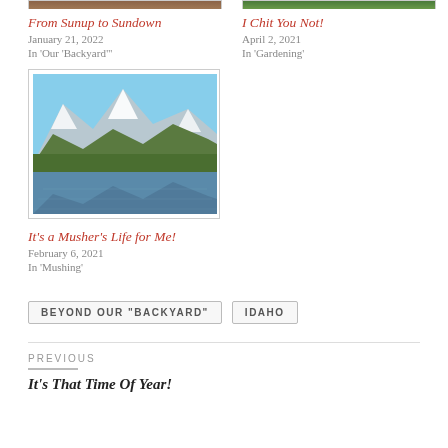[Figure (photo): Partial image of first article (From Sunup to Sundown) - cropped at top]
From Sunup to Sundown
January 21, 2022
In 'Our 'Backyard"'
[Figure (photo): Partial image of second article (I Chit You Not!) - cropped at top]
I Chit You Not!
April 2, 2021
In 'Gardening'
[Figure (photo): Mountain lake landscape photo with snow-capped peaks reflected in water, for the article It's a Musher's Life for Me!]
It's a Musher's Life for Me!
February 6, 2021
In 'Mushing'
BEYOND OUR "BACKYARD"
IDAHO
PREVIOUS
It's That Time Of Year!